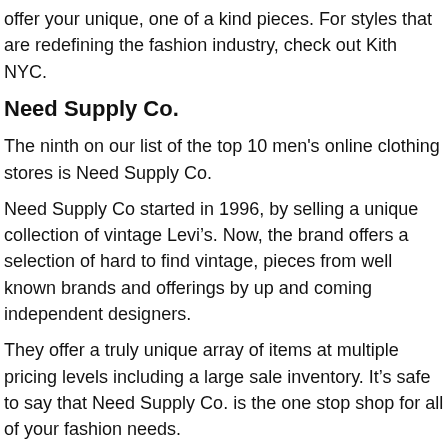offer your unique, one of a kind pieces. For styles that are redefining the fashion industry, check out Kith NYC.
Need Supply Co.
The ninth on our list of the top 10 men's online clothing stores is Need Supply Co.
Need Supply Co started in 1996, by selling a unique collection of vintage Levi's. Now, the brand offers a selection of hard to find vintage, pieces from well known brands and offerings by up and coming independent designers.
They offer a truly unique array of items at multiple pricing levels including a large sale inventory. It's safe to say that Need Supply Co. is the one stop shop for all of your fashion needs.